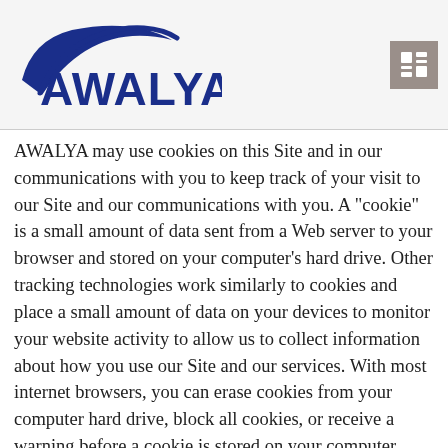[Figure (logo): AWALYA company logo with dark blue arc swoosh and AWALYA text in bold dark blue]
AWALYA may use cookies on this Site and in our communications with you to keep track of your visit to our Site and our communications with you. A "cookie" is a small amount of data sent from a Web server to your browser and stored on your computer's hard drive. Other tracking technologies work similarly to cookies and place a small amount of data on your devices to monitor your website activity to allow us to collect information about how you use our Site and our services. With most internet browsers, you can erase cookies from your computer hard drive, block all cookies, or receive a warning before a cookie is stored on your computer. Please refer to your browser instructions or you can visit https://www.aboutcookies.org/ which will give you more information. Once you have given your consent to